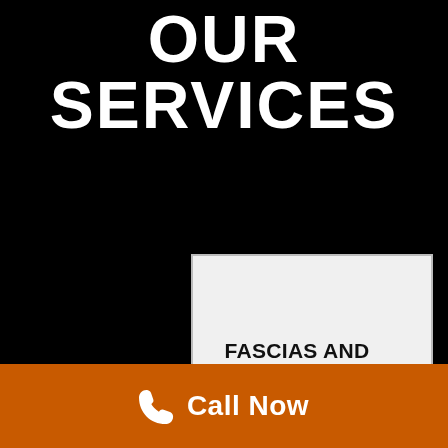OUR SERVICES
FASCIAS AND SOFFITS IN SHOLING
SLATE ROOFING IN SHOLING
Call Now